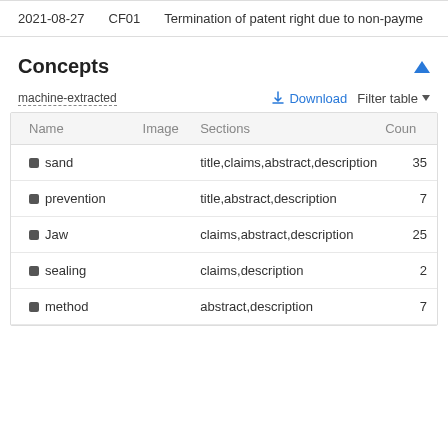| Date | Code | Description |
| --- | --- | --- |
| 2021-08-27 | CF01 | Termination of patent right due to non-payme |
Concepts
machine-extracted
| Name | Image | Sections | Coun |
| --- | --- | --- | --- |
| sand |  | title,claims,abstract,description | 35 |
| prevention |  | title,abstract,description | 7 |
| Jaw |  | claims,abstract,description | 25 |
| sealing |  | claims,description | 2 |
| method |  | abstract,description | 7 |